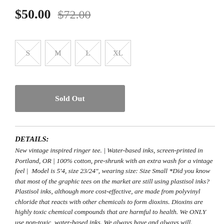$50.00  $72.00
[Figure (other): Four size selector boxes labeled S, M, L, XL, each with an X drawn through them indicating unavailable sizes]
Sold Out
DETAILS: New vintage inspired ringer tee. | Water-based inks, screen-printed in Portland, OR | 100% cotton, pre-shrunk with an extra wash for a vintage feel | Model is 5'4, size 23/24", wearing size: Size Small *Did you know that most of the graphic tees on the market are still using plastisol inks? Plastisol inks, although more cost-effective, are made from polyvinyl chloride that reacts with other chemicals to form dioxins. Dioxins are highly toxic chemical compounds that are harmful to health. We ONLY use non-toxic, water-based inks. We always have and always will.